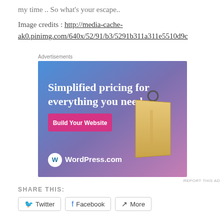my time .. So what's your escape..
Image credits : http://media-cache-ak0.pinimg.com/640x/52/91/b3/5291b311a311e5510d9c
Advertisements
[Figure (other): WordPress.com advertisement banner: 'Simplified pricing for everything you need.' with a 'Build Your Website' button and a price tag image. WordPress.com logo at bottom left.]
REPORT THIS AD
SHARE THIS:
Twitter
Facebook
More